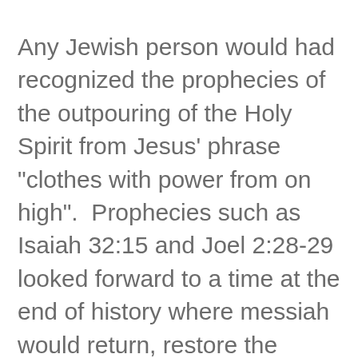Any Jewish person would had recognized the prophecies of the outpouring of the Holy Spirit from Jesus' phrase "clothes with power from on high".  Prophecies such as Isaiah 32:15 and Joel 2:28-29 looked forward to a time at the end of history where messiah would return, restore the nation in repentance and salvation and pour out the Holy Spirit.  Undoubtedly as the disciples heard jesus speak these words, they would had perhaps been amazed at the fact that Jesus was